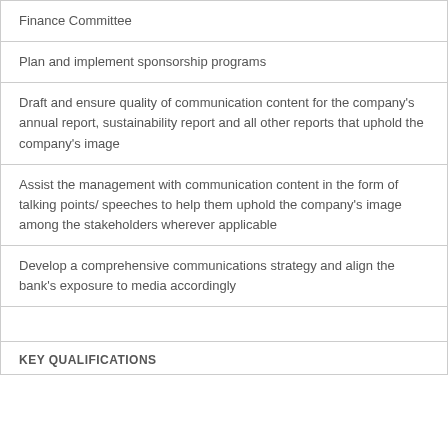Finance Committee
Plan and implement sponsorship programs
Draft and ensure quality of communication content for the company's annual report, sustainability report and all other reports that uphold the company's image
Assist the management with communication content in the form of talking points/ speeches to help them uphold the company's image among the stakeholders wherever applicable
Develop a comprehensive communications strategy and align the bank's exposure to media accordingly
KEY QUALIFICATIONS